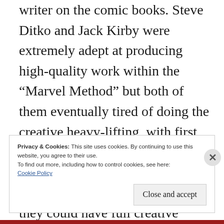writer on the comic books. Steve Ditko and Jack Kirby were extremely adept at producing high-quality work within the “Marvel Method” but both of them eventually tired of doing the creative heavy-lifting, with first Ditko and then Kirby choosing to leave Marvel in the hopes of finding venues elsewhere where they could have full creative control, along with the accompanying credit for their writing.
Privacy & Cookies: This site uses cookies. By continuing to use this website, you agree to their use.
To find out more, including how to control cookies, see here:
Cookie Policy